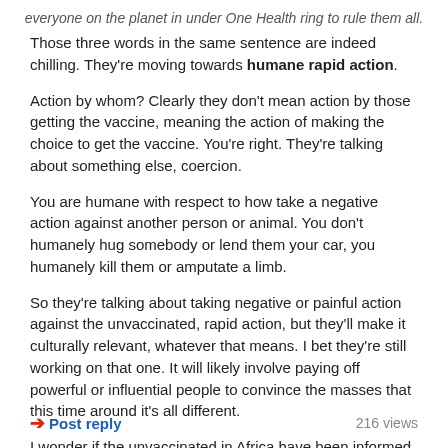everyone on the planet in under One Health ring to rule them all.
Those three words in the same sentence are indeed chilling. They're moving towards humane rapid action.
Action by whom? Clearly they don't mean action by those getting the vaccine, meaning the action of making the choice to get the vaccine. You're right. They're talking about something else, coercion.
You are humane with respect to how take a negative action against another person or animal. You don't humanely hug somebody or lend them your car, you humanely kill them or amputate a limb.
So they're talking about taking negative or painful action against the unvaccinated, rapid action, but they'll make it culturally relevant, whatever that means. I bet they're still working on that one. It will likely involve paying off powerful or influential people to convince the masses that this time around it's all different.
I wonder if the unvaccinated in Africa have been informed that soon they will no longer have a choice.
Post reply | 216 views